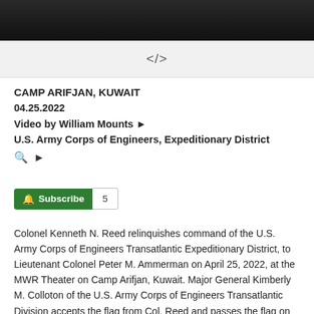[Figure (photo): Dark photo bar at top of page showing people in a room]
[Figure (other): Gray embed bar with code embed icon </> symbol]
CAMP ARIFJAN, KUWAIT
04.25.2022
Video by William Mounts » U.S. Army Corps of Engineers, Expeditionary District
Subscribe 5
Colonel Kenneth N. Reed relinquishes command of the U.S. Army Corps of Engineers Transatlantic Expeditionary District, to Lieutenant Colonel Peter M. Ammerman on April 25, 2022, at the MWR Theater on Camp Arifjan, Kuwait. Major General Kimberly M. Colloton of the U.S. Army Corps of Engineers Transatlantic Division accepts the flag from Col. Reed and passes the flag on to Lt. Col. Ammerman to signify the transfer of command. In the year since its creation, the Transatlantic Expeditionary District has closed 388 contracts, as part of the Afghanistan orderly